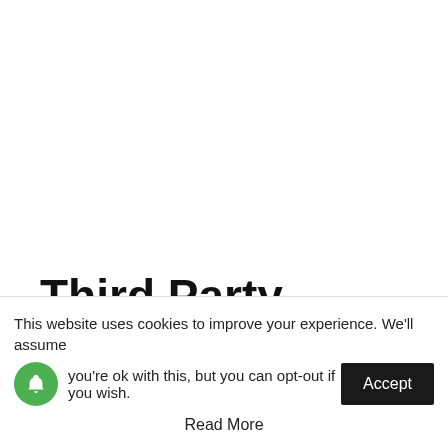Third Party Privacy Policies
This website uses cookies to improve your experience. We'll assume you're ok with this, but you can opt-out if you wish. Accept Read More